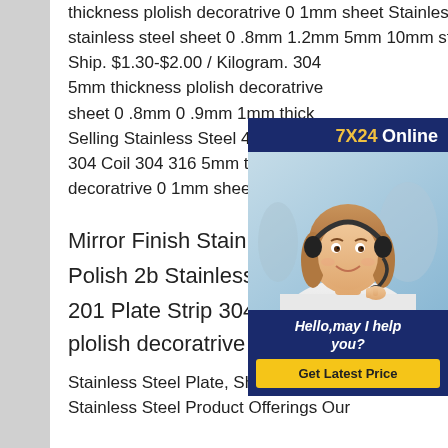thickness plolish decoratrive 0 1mm sheet Stainless steel plate 304 316 317 309 201 stainless steel sheet 0 .8mm 1.2mm 5mm 10mm stainless steel price. Ready to Ship. $1.30-$2.00 / Kilogram. 304 5mm thickness plolish decoratrive sheet 0 .8mm 0 .9mm 1mm thickness Selling Stainless Steel 410 409 4 304 Coil 304 316 5mm thickness decoratrive 0 1mm sheet
[Figure (photo): Chat widget overlay with '7X24 Online' header, photo of a woman wearing a headset, message 'Hello,may I help you?' and a 'Get Latest Price' button on dark navy background.]
Mirror Finish Stainless Steel She...
Polish 2b Stainless Steel Sheet 304 316
201 Plate Strip 304 316 5mm thickness plolish decoratrive 0 1mm sheet
Stainless Steel Plate, Sheet , Strip, Coil. Stainless Steel Product Offerings Our